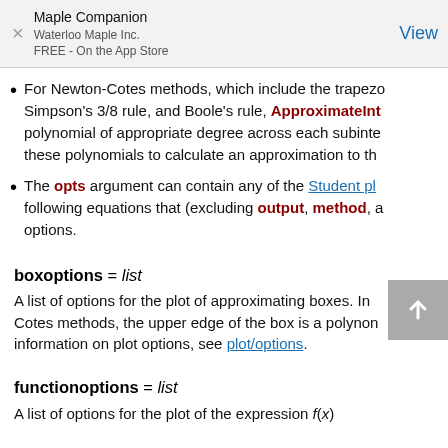Maple Companion
Waterloo Maple Inc.
FREE - On the App Store
View
For Newton-Cotes methods, which include the trapezoid rule, Simpson's 3/8 rule, and Boole's rule, ApproximateInt polynomial of appropriate degree across each subinterval and integrates these polynomials to calculate an approximation to the...
The opts argument can contain any of the Student plot following equations that (excluding output, method, a... options.
boxoptions = list
A list of options for the plot of approximating boxes. In... Cotes methods, the upper edge of the box is a polynomial... information on plot options, see plot/options.
functionoptions = list
A list of options for the plot of the expression f(x)...